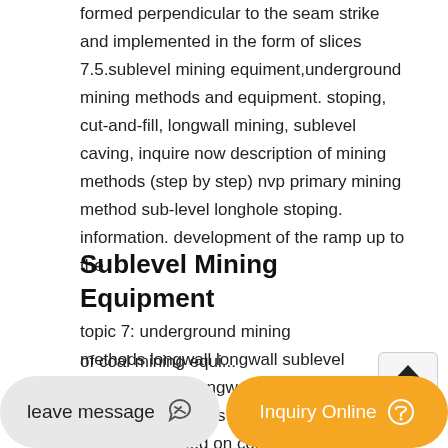formed perpendicular to the seam strike and implemented in the form of slices 7.5.sublevel mining equiment,underground mining methods and equipment. stoping, cut-and-fill, longwall mining, sublevel caving, inquire now description of mining methods (step by step) nvp primary mining method sub-level longhole stoping. information. development of the ramp up to the
Sublevel Mining Equipment
topic 7: underground mining methods longwall longwall sublevel caving it set of longwall mining equipment consists of a coal shearer mounted on conveyor operating inquire now [pdf] some methods of coal mining equi...
longwall sublevel caving. lo